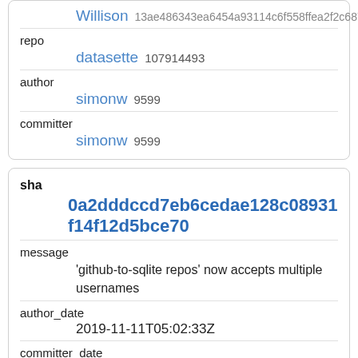| Willison | 13ae486343ea6454a93114c6f558ffea2f2c6874 |
| repo |  |
| datasette | 107914493 |
| author |  |
| simonw | 9599 |
| committer |  |
| simonw | 9599 |
| sha |  |
| 0a2dddccd7eb6cedae128c08931f14f12d5bce70 |  |
| message |  |
| 'github-to-sqlite repos' now accepts multiple usernames |  |
| author_date |  |
| 2019-11-11T05:02:33Z |  |
| committer_date |  |
| 2019-11-11T05:02:33Z |  |
| raw_author |  |
| Simon |  |
| Willison | 13ae486343ea6454a93114c6f558ffea2f2c6874 |